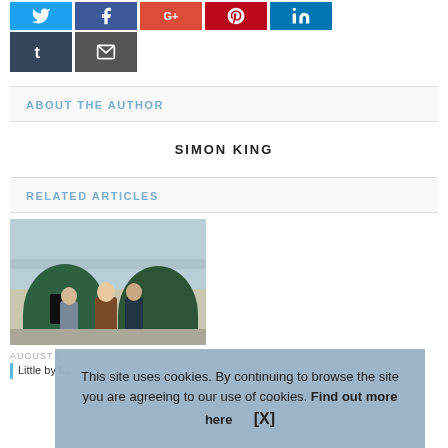[Figure (other): Social sharing buttons row: Twitter (blue), Facebook (dark blue), Google+ (red-orange), Pinterest (red), LinkedIn (blue), Tumblr (dark blue-grey), Email (grey)]
ABOUT THE AUTHOR
SIMON KING
RELATED ARTICLES
[Figure (photo): Photograph of people standing near large green curved structures (polytunnels or similar) with water/estuary in the background]
AUGUST 2...
Little by l...
This site uses cookies. By continuing to browse the site you are agreeing to our use of cookies. Find out more here   [X]